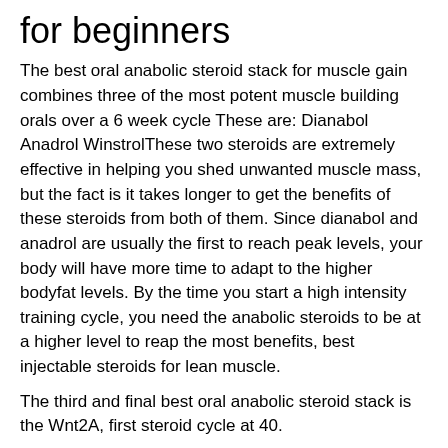for beginners
The best oral anabolic steroid stack for muscle gain combines three of the most potent muscle building orals over a 6 week cycle These are: Dianabol Anadrol WinstrolThese two steroids are extremely effective in helping you shed unwanted muscle mass, but the fact is it takes longer to get the benefits of these steroids from both of them. Since dianabol and anadrol are usually the first to reach peak levels, your body will have more time to adapt to the higher bodyfat levels. By the time you start a high intensity training cycle, you need the anabolic steroids to be at a higher level to reap the most benefits, best injectable steroids for lean muscle.
The third and final best oral anabolic steroid stack is the Wnt2A, first steroid cycle at 40.